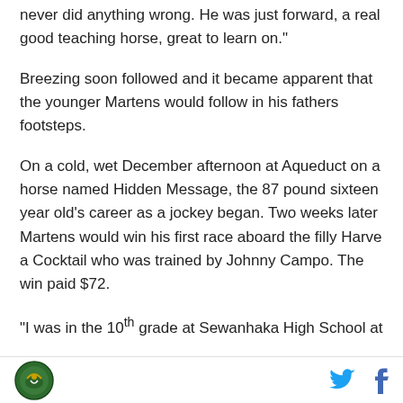never did anything wrong. He was just forward, a real good teaching horse, great to learn on."
Breezing soon followed and it became apparent that the younger Martens would follow in his fathers footsteps.
On a cold, wet December afternoon at Aqueduct on a horse named Hidden Message, the 87 pound sixteen year old's career as a jockey began. Two weeks later Martens would win his first race aboard the filly Harve a Cocktail who was trained by Johnny Campo. The win paid $72.
"I was in the 10th grade at Sewanhaka High School at
[logo] [twitter] [facebook]